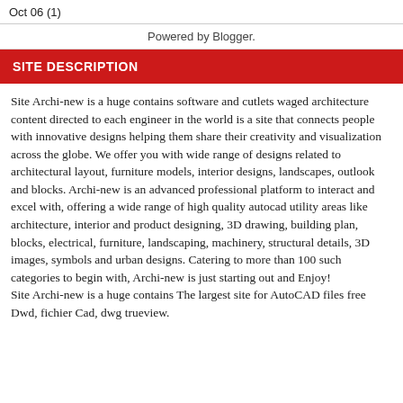Oct 06 (1)
Powered by Blogger.
SITE DESCRIPTION
Site Archi-new is a huge contains software and cutlets waged architecture content directed to each engineer in the world is a site that connects people with innovative designs helping them share their creativity and visualization across the globe. We offer you with wide range of designs related to architectural layout, furniture models, interior designs, landscapes, outlook and blocks. Archi-new is an advanced professional platform to interact and excel with, offering a wide range of high quality autocad utility areas like architecture, interior and product designing, 3D drawing, building plan, blocks, electrical, furniture, landscaping, machinery, structural details, 3D images, symbols and urban designs. Catering to more than 100 such categories to begin with, Archi-new is just starting out and Enjoy!
Site Archi-new is a huge contains The largest site for AutoCAD files free Dwd, fichier Cad, dwg trueview.